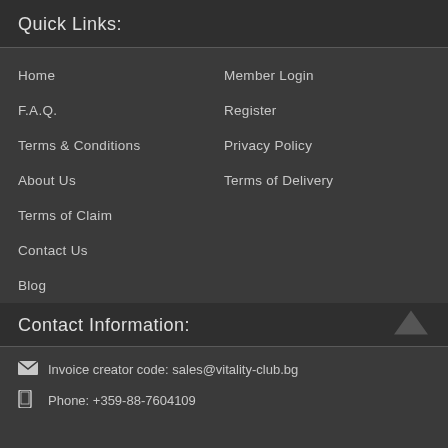Quick Links:
Home
Member Login
F.A.Q.
Register
Terms & Conditions
Privacy Policy
About Us
Terms of Delivery
Terms of Claim
Contact Us
Blog
Contact Information:
Invoice creator code: sales@vitality-club.bg
Phone: +359-88-7604109